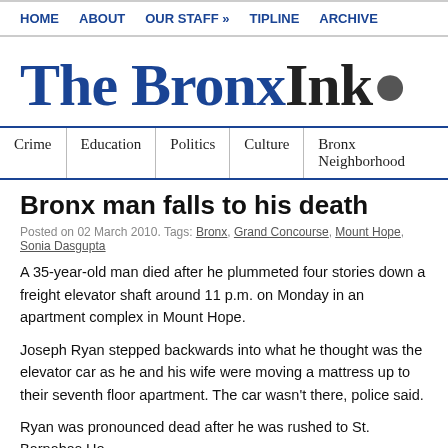HOME   ABOUT   OUR STAFF »   TIPLINE   ARCHIVE
The Bronx Ink
Crime   Education   Politics   Culture   Bronx Neighborhood
Bronx man falls to his death
Posted on 02 March 2010. Tags: Bronx, Grand Concourse, Mount Hope, Sonia Dasgupta
A 35-year-old man died after he plummeted four stories down a freight elevator shaft around 11 p.m. on Monday in an apartment complex in Mount Hope.
Joseph Ryan stepped backwards into what he thought was the elevator car as he and his wife were moving a mattress up to their seventh floor apartment. The car wasn't there, police said.
Ryan was pronounced dead after he was rushed to St. Barnabas Ho